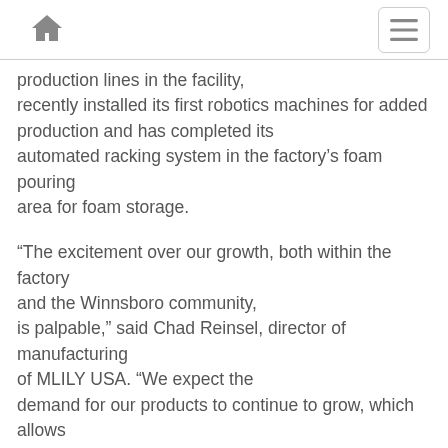Home | Menu
production lines in the facility, recently installed its first robotics machines for added production and has completed its automated racking system in the factory’s foam pouring area for foam storage.
“The excitement over our growth, both within the factory and the Winnsboro community, is palpable,” said Chad Reinsel, director of manufacturing of MLILY USA. “We expect the demand for our products to continue to grow, which allows us to continue to invest in the community and its residents.”
The company manufactures its range of mattresses and pillows in the factory,